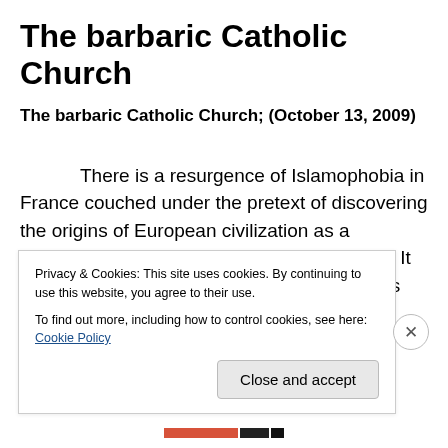The barbaric Catholic Church
The barbaric Catholic Church; (October 13, 2009)
There is a resurgence of Islamophobia in France couched under the pretext of discovering the origins of European civilization as a combination of Greek and Christian cultures. It would be worthwhile to set the historical facts straight for any meaningful reply.
Privacy & Cookies: This site uses cookies. By continuing to use this website, you agree to their use.
To find out more, including how to control cookies, see here: Cookie Policy